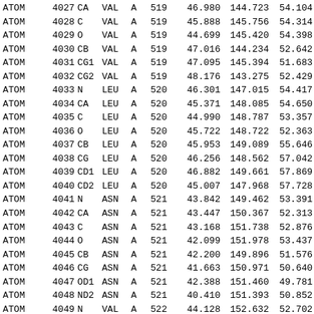| type | serial | name | res | chain | resSeq | x | y | z |
| --- | --- | --- | --- | --- | --- | --- | --- | --- |
| ATOM | 4027 | CA | VAL | A | 519 | 46.980 | 144.723 | 54.104 |
| ATOM | 4028 | C | VAL | A | 519 | 45.888 | 145.756 | 54.314 |
| ATOM | 4029 | O | VAL | A | 519 | 44.699 | 145.420 | 54.398 |
| ATOM | 4030 | CB | VAL | A | 519 | 47.016 | 144.234 | 52.642 |
| ATOM | 4031 | CG1 | VAL | A | 519 | 47.095 | 145.394 | 51.683 |
| ATOM | 4032 | CG2 | VAL | A | 519 | 48.176 | 143.275 | 52.429 |
| ATOM | 4033 | N | LEU | A | 520 | 46.301 | 147.015 | 54.417 |
| ATOM | 4034 | CA | LEU | A | 520 | 45.371 | 148.085 | 54.650 |
| ATOM | 4035 | C | LEU | A | 520 | 44.990 | 148.787 | 53.357 |
| ATOM | 4036 | O | LEU | A | 520 | 45.722 | 148.722 | 52.363 |
| ATOM | 4037 | CB | LEU | A | 520 | 45.953 | 149.089 | 55.646 |
| ATOM | 4038 | CG | LEU | A | 520 | 46.256 | 148.562 | 57.042 |
| ATOM | 4039 | CD1 | LEU | A | 520 | 46.882 | 149.661 | 57.869 |
| ATOM | 4040 | CD2 | LEU | A | 520 | 45.007 | 147.968 | 57.728 |
| ATOM | 4041 | N | ASN | A | 521 | 43.842 | 149.462 | 53.391 |
| ATOM | 4042 | CA | ASN | A | 521 | 43.447 | 150.367 | 52.313 |
| ATOM | 4043 | C | ASN | A | 521 | 43.168 | 151.738 | 52.876 |
| ATOM | 4044 | O | ASN | A | 521 | 42.099 | 151.978 | 53.437 |
| ATOM | 4045 | CB | ASN | A | 521 | 42.200 | 149.896 | 51.576 |
| ATOM | 4046 | CG | ASN | A | 521 | 41.663 | 150.971 | 50.640 |
| ATOM | 4047 | OD1 | ASN | A | 521 | 42.388 | 151.460 | 49.781 |
| ATOM | 4048 | ND2 | ASN | A | 521 | 40.410 | 151.393 | 50.852 |
| ATOM | 4049 | N | VAL | A | 522 | 44.128 | 152.632 | 52.702 |
| ATOM | 4050 | CA | VAL | A | 522 | 44.111 | 153.941 | 53.336 |
| ATOM | 4051 | C | VAL | A | 522 | 44.018 | 154.972 | 52.222 |
| ATOM | 4052 | O | VAL | A | 522 | 44.998 | 155.227 | 51.513 |
| ATOM | 4053 | CB | VAL | A | 522 | 45.398 | 154.156 | 54.208 |
| ATOM | 4054 | CG1 | VAL | A | 522 | 45.443 | 155.562 | 54.799 |
| ATOM | 4055 | CG2 | VAL | A | 522 | 45.444 | 153.143 | 55.317 |